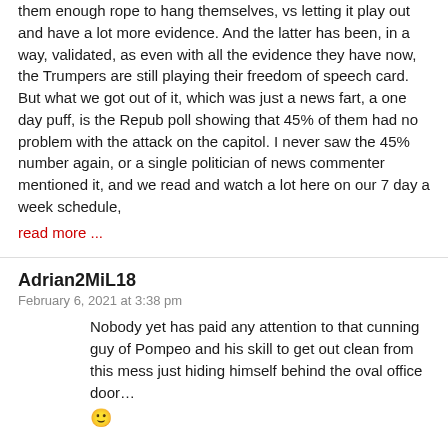them enough rope to hang themselves, vs letting it play out and have a lot more evidence. And the latter has been, in a way, validated, as even with all the evidence they have now, the Trumpers are still playing their freedom of speech card. But what we got out of it, which was just a news fart, a one day puff, is the Repub poll showing that 45% of them had no problem with the attack on the capitol. I never saw the 45% number again, or a single politician of news commenter mentioned it, and we read and watch a lot here on our 7 day a week schedule,
read more ...
Adrian2MiL18
February 6, 2021 at 3:38 pm
Nobody yet has paid any attention to that cunning guy of Pompeo and his skill to get out clean from this mess just hiding himself behind the oval office door… 🙂